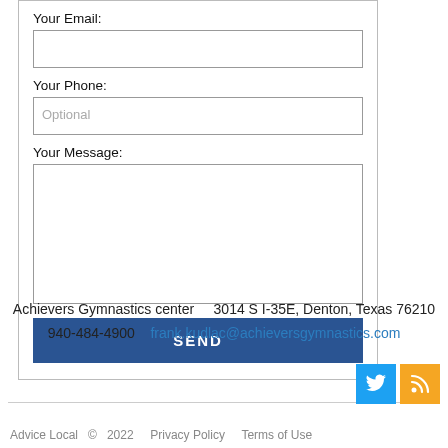Your Email:
Your Phone:
Your Message:
SEND
Achievers Gymnastics center    3014 S I-35E, Denton, Texas 76210
940-484-4900    frank.kudlac@achieversgymnastics.com
Advice Local © 2022    Privacy Policy    Terms of Use